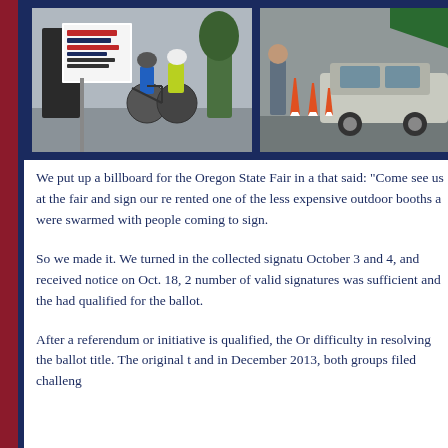[Figure (photo): Two side-by-side photos: left photo shows a person holding a petition/rally sign with cyclists nearby; right photo shows people near a car with orange traffic cones in a parking area.]
We put up a billboard for the Oregon State Fair in a that said: “Come see us at the fair and sign our re rented one of the less expensive outdoor booths a were swarmed with people coming to sign.
So we made it. We turned in the collected signatu October 3 and 4, and received notice on Oct. 18, 2 number of valid signatures was sufficient and the had qualified for the ballot.
After a referendum or initiative is qualified, the Or difficulty in resolving the ballot title. The original t and in December 2013, both groups filed challeng